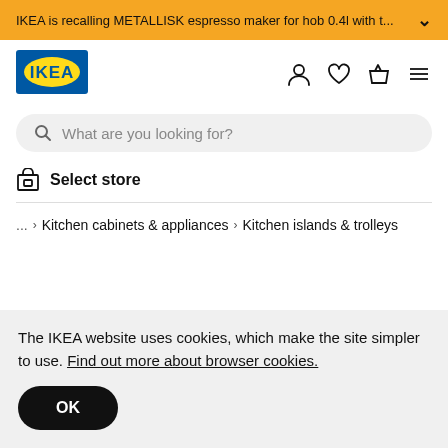IKEA is recalling METALLISK espresso maker for hob 0.4l with t...
[Figure (logo): IKEA logo — blue rectangle with yellow oval and IKEA text]
What are you looking for?
Select store
... › Kitchen cabinets & appliances › Kitchen islands & trolleys
The IKEA website uses cookies, which make the site simpler to use. Find out more about browser cookies.
OK